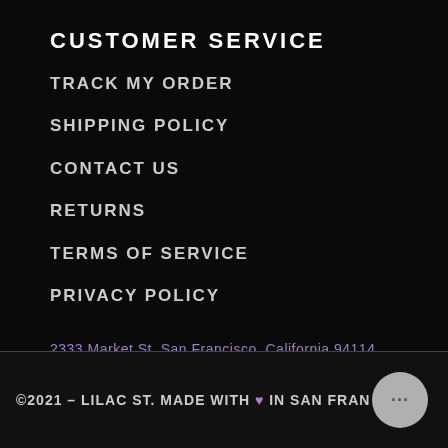CUSTOMER SERVICE
TRACK MY ORDER
SHIPPING POLICY
CONTACT US
RETURNS
TERMS OF SERVICE
PRIVACY POLICY
2333 Market St. San Francisco, California 94114
©2021 – LILAC ST. MADE WITH ♥ IN SAN FRAN